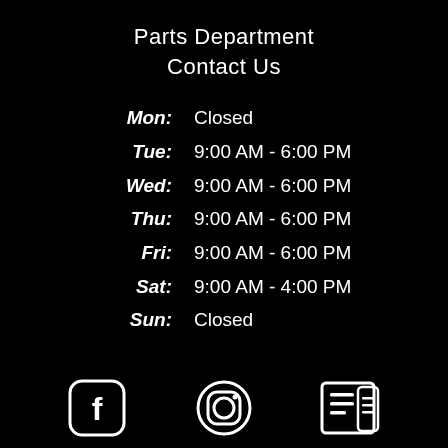Parts Department
Contact Us
| Day | Hours |
| --- | --- |
| Mon: | Closed |
| Tue: | 9:00 AM - 6:00 PM |
| Wed: | 9:00 AM - 6:00 PM |
| Thu: | 9:00 AM - 6:00 PM |
| Fri: | 9:00 AM - 6:00 PM |
| Sat: | 9:00 AM - 4:00 PM |
| Sun: | Closed |
[Figure (logo): Facebook icon (white rounded square with F)]
[Figure (logo): Instagram icon (white circle with camera outline)]
[Figure (logo): Newsletter/news icon (white square with lines)]
Privacy Statement | Terms Of UseAccessibility Statement | CCPA Privacy
Powered by DX1*